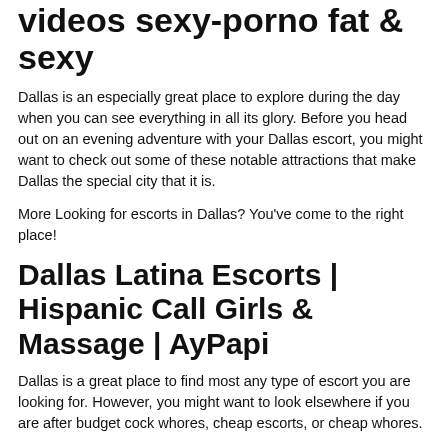videos sexy-porno fat & sexy
Dallas is an especially great place to explore during the day when you can see everything in all its glory. Before you head out on an evening adventure with your Dallas escort, you might want to check out some of these notable attractions that make Dallas the special city that it is.
More Looking for escorts in Dallas? You've come to the right place!
Dallas Latina Escorts | Hispanic Call Girls & Massage | AyPapi
Dallas is a great place to find most any type of escort you are looking for. However, you might want to look elsewhere if you are after budget cock whores, cheap escorts, or cheap whores.